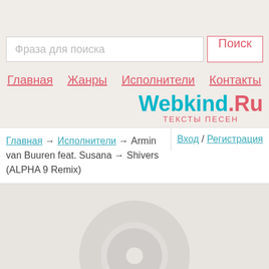[Figure (screenshot): Search bar with placeholder text 'Фраза для поиска' and a 'Поиск' button]
Главная   Жанры   Исполнители   Контакты
[Figure (logo): Webkind.Ru logo with subtitle 'тексты песен']
Главная → Исполнители → Armin van Buuren feat. Susana → Shivers (ALPHA 9 Remix)
Вход / Регистрация
[Figure (illustration): Gray CD/disc placeholder image on light gray background]